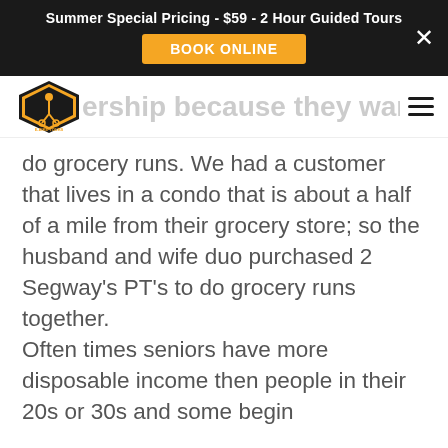Summer Special Pricing - $59 - 2 Hour Guided Tours
BOOK ONLINE
ership because they want to do grocery runs. We had a customer that lives in a condo that is about a half of a mile from their grocery store; so the husband and wife duo purchased 2 Segway's PT's to do grocery runs together. Often times seniors have more disposable income then people in their 20s or 30s and some begin